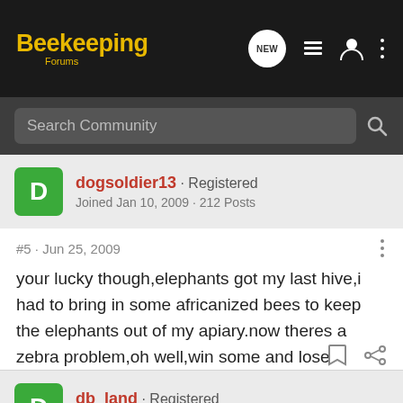Beekeeping Forums
Search Community
dogsoldier13 · Registered
Joined Jan 10, 2009 · 212 Posts
#5 · Jun 25, 2009
your lucky though,elephants got my last hive,i had to bring in some africanized bees to keep the elephants out of my apiary.now theres a zebra problem,oh well,win some and lose some,good luck
db_land · Registered
Joined Jun 3, 2009 · 2 Posts